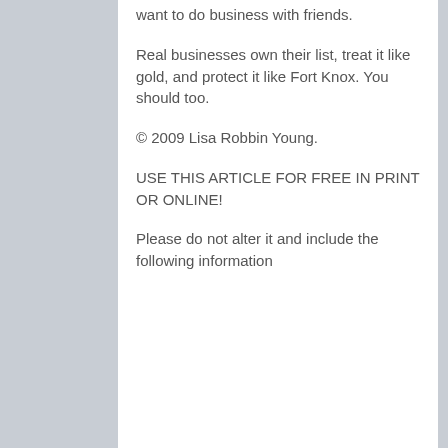want to do business with friends.
Real businesses own their list, treat it like gold, and protect it like Fort Knox. You should too.
© 2009 Lisa Robbin Young.
USE THIS ARTICLE FOR FREE IN PRINT OR ONLINE!
Please do not alter it and include the following information